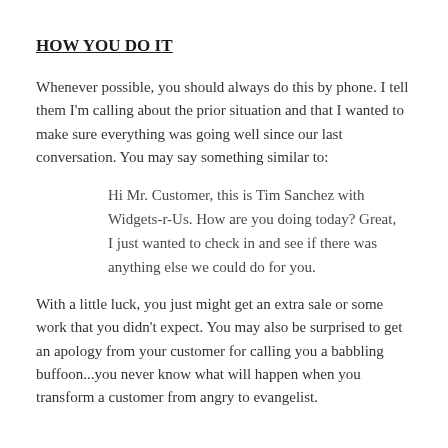HOW YOU DO IT
Whenever possible, you should always do this by phone. I tell them I'm calling about the prior situation and that I wanted to make sure everything was going well since our last conversation. You may say something similar to:
Hi Mr. Customer, this is Tim Sanchez with Widgets-r-Us. How are you doing today? Great, I just wanted to check in and see if there was anything else we could do for you.
With a little luck, you just might get an extra sale or some work that you didn't expect. You may also be surprised to get an apology from your customer for calling you a babbling buffoon...you never know what will happen when you transform a customer from angry to evangelist.